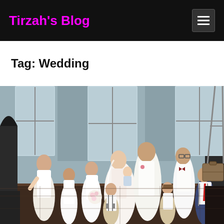Tirzah's Blog
Tag: Wedding
[Figure (photo): Wedding photo showing a bride and groom with several children dressed in wedding attire including flower girls in white dresses and ring bearers in white shirts with suspenders, gathered together indoors with large windows in the background.]